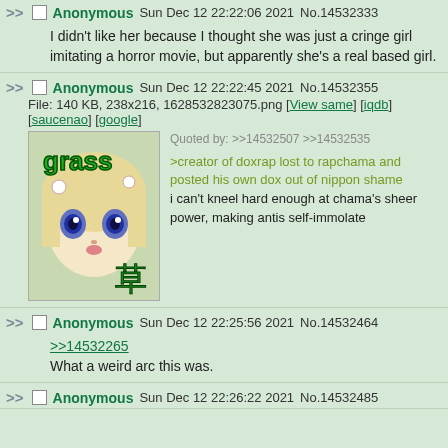>> Anonymous Sun Dec 12 22:22:06 2021 No.14532333
I didn't like her because I thought she was just a cringe girl imitating a horror movie, but apparently she's a real based girl.
>> Anonymous Sun Dec 12 22:22:45 2021 No.14532355
File: 140 KB, 238x216, 1628532823075.png [View same] [iqdb] [saucenao] [google]
Quoted by: >>14532507 >>14532535
>creator of doxrap lost to rapchama and posted his own dox out of nippon shame
i can't kneel hard enough at chama's sheer power, making antis self-immolate
>> Anonymous Sun Dec 12 22:25:56 2021 No.14532464
>>14532265
What a weird arc this was.
>> Anonymous Sun Dec 12 22:26:22 2021 No.14532485